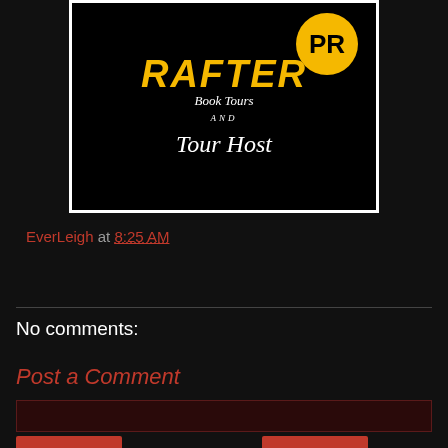[Figure (logo): Rafter Book Tours and PR - Tour Host logo. Black background with gold/yellow paint stroke text and a yellow circular PR badge. Script text reads 'Tour Host' at the bottom.]
EverLeigh at 8:25 AM
Share
No comments:
Post a Comment